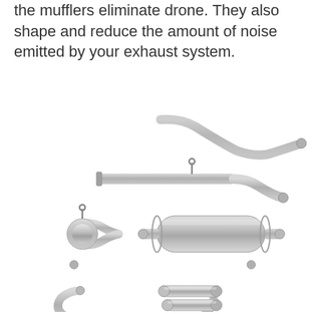the mufflers eliminate drone. They also shape and reduce the amount of noise emitted by your exhaust system.
[Figure (photo): An exploded view of a vehicle exhaust system kit showing various stainless steel components including pipes, a cylindrical muffler, a Y-pipe connector, bent exhaust pipes, and dual exhaust tips laid out on a white background.]